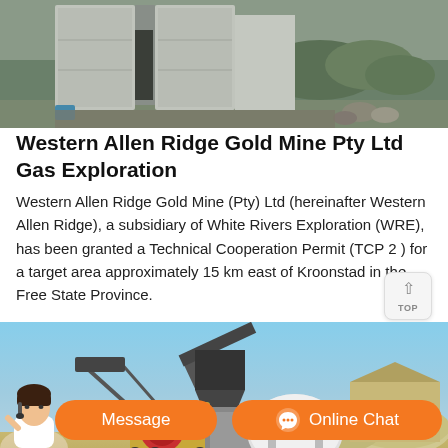[Figure (photo): Top portion of a photo showing a concrete/stone structure with vegetation in the background]
Western Allen Ridge Gold Mine Pty Ltd Gas Exploration
Western Allen Ridge Gold Mine (Pty) Ltd (hereinafter Western Allen Ridge), a subsidiary of White Rivers Exploration (WRE), has been granted a Technical Cooperation Permit (TCP 2 ) for a target area approximately 15 km east of Kroonstad in the Free State Province.
[Figure (photo): Photo of mining/crushing equipment in an outdoor setting with blue sky in background]
[Figure (other): Orange chat bar with message and online chat buttons at the bottom of the page]